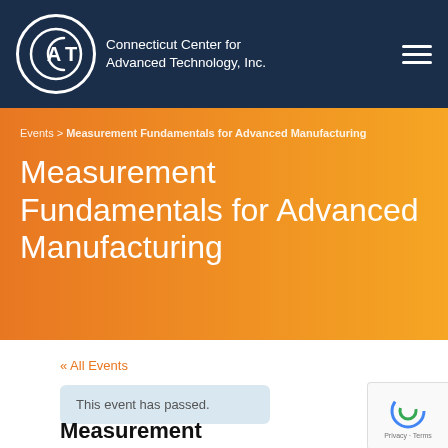[Figure (logo): Connecticut Center for Advanced Technology, Inc. logo with circular CCAT emblem on dark navy header bar with hamburger menu icon]
Events > Measurement Fundamentals for Advanced Manufacturing
Measurement Fundamentals for Advanced Manufacturing
« All Events
This event has passed.
Measurement